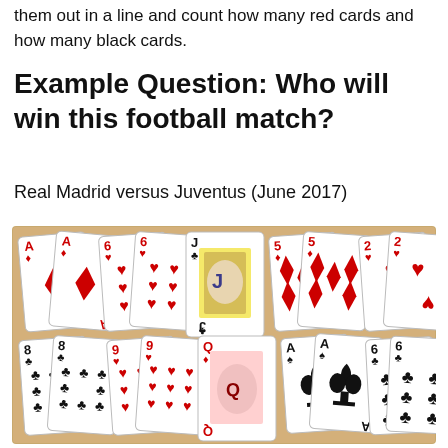them out in a line and count how many red cards and how many black cards.
Example Question: Who will win this football match?
Real Madrid versus Juventus (June 2017)
[Figure (photo): A photograph of 9 playing cards arranged in two rows on a wooden surface. Top row: Ace of Diamonds, 6 of Hearts, Jack of Clubs, 5 of Diamonds, 2 of Hearts. Bottom row: 8 of Clubs, 9 of Hearts, Queen of Diamonds, Ace of Spades, 6 of Clubs.]